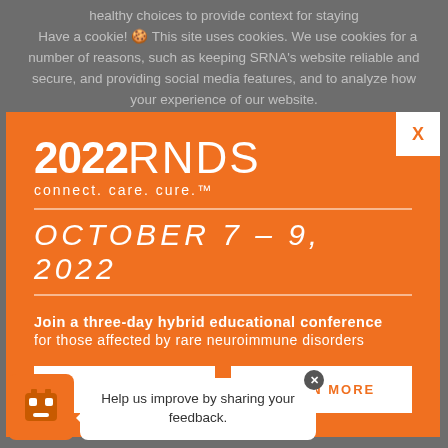Have a cookie! 🍪 This site uses cookies. We use cookies for a number of reasons, such as keeping SRNA's website reliable and secure, and providing social media features, and to analyze how our website is used. By continuing to browse the site, you are
[Figure (infographic): Orange modal popup for 2022 RNDS conference with close X button, title '2022RNDS connect. care. cure.™', date 'OCTOBER 7 - 9, 2022', description text, and two white buttons: REGISTER and LEARN MORE]
CLICK HERE TO GO BACK TO THE FALL 2020 ISSUE
[Figure (infographic): Feedback widget with orange robot/mascot icon and white speech bubble saying 'Help us improve by sharing your feedback.' with a close X button]